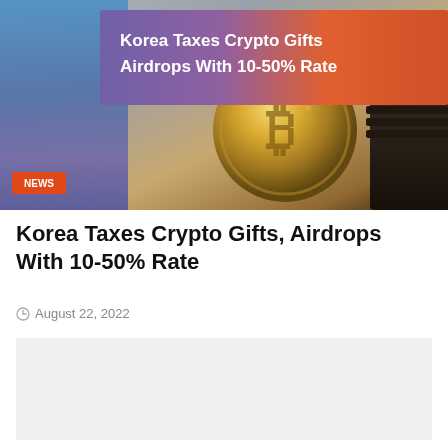[Figure (photo): Hero banner image showing Bitcoin/crypto coins with a purple-to-orange gradient overlay banner. A gold Bitcoin coin is prominently displayed in the center-right. Left side has a blue-purple gradient panel. An orange-red banner overlaid on the image reads 'Korea Taxes Crypto Gifts Airdrops With 10-50% Rate'. A red NEWS badge appears bottom-left.]
Korea Taxes Crypto Gifts, Airdrops With 10-50% Rate
August 22, 2022
[Figure (other): Light gray empty content block placeholder]